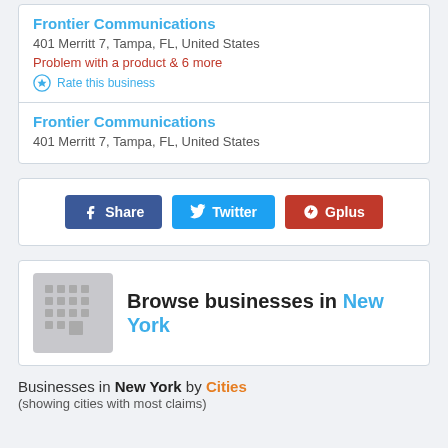Frontier Communications
401 Merritt 7, Tampa, FL, United States
Problem with a product & 6 more
Rate this business
Frontier Communications
401 Merritt 7, Tampa, FL, United States
[Figure (other): Social share buttons: Facebook Share, Twitter, Gplus]
[Figure (other): Browse businesses in New York icon with building grid graphic]
Browse businesses in New York
Businesses in New York by Cities
(showing cities with most claims)